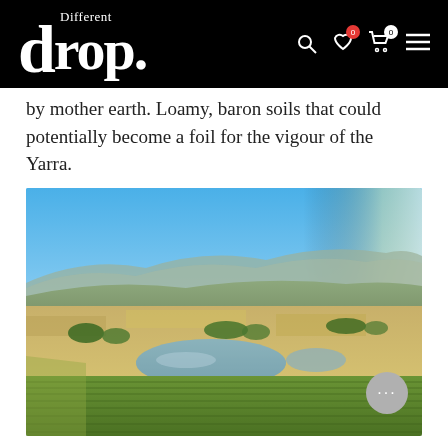Different drop.
by mother earth. Loamy, baron soils that could potentially become a foil for the vigour of the Yarra.
[Figure (photo): Aerial landscape view of Yarra Valley vineyard with green vines in foreground, a reflective pond in the middle, golden agricultural fields, rows of trees, and blue hills in the background under a clear blue sky.]